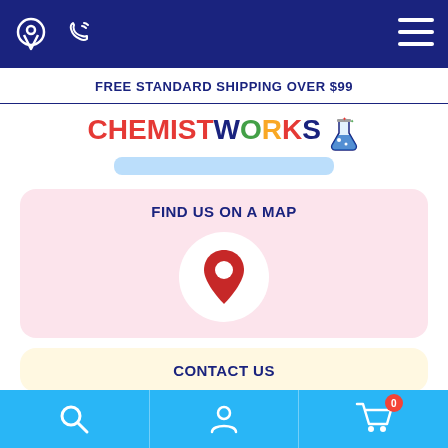Navigation bar with location pin, phone, and menu icons
FREE STANDARD SHIPPING OVER $99
[Figure (logo): ChemistWorks logo with colorful text and chemistry flask icon]
FIND US ON A MAP
[Figure (map): Map placeholder with red location pin marker on white circle background]
CONTACT US
Bottom navigation bar with search, account, and cart (0) icons